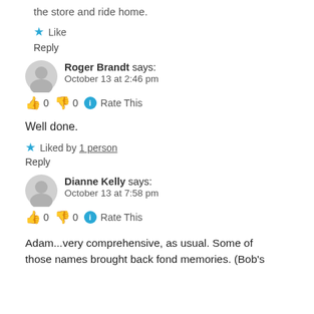the store and ride home.
★ Like
Reply
Roger Brandt says:
October 13 at 2:46 pm
👍 0 👎 0 ℹ Rate This
Well done.
★ Liked by 1 person
Reply
Dianne Kelly says:
October 13 at 7:58 pm
👍 0 👎 0 ℹ Rate This
Adam...very comprehensive, as usual. Some of those names brought back fond memories. (Bob's